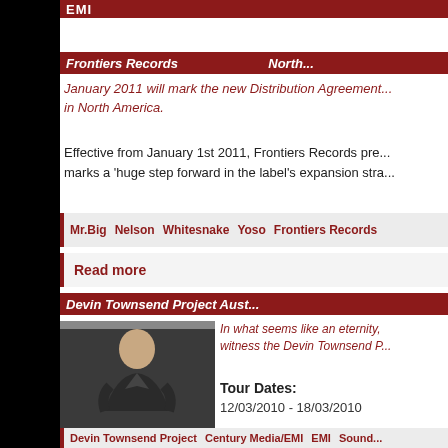EMI
Frontiers Records ... North...
January 2011 will mark the new Distribution Agreement... in North America.
Effective from January 1st 2011, Frontiers Records pre... marks a 'huge step forward in the label's expansion stra...
Mr.Big   Nelson   Whitesnake   Yoso   Frontiers Records
Read more
Devin Townsend Project Aust...
[Figure (photo): Bald man in dark jacket standing, looking down]
In what seems like an eternity, witness the Devin Townsend P...
Tour Dates: 12/03/2010 - 18/03/2010
Devin Townsend Project   Century Media/EMI   EMI   Sound...